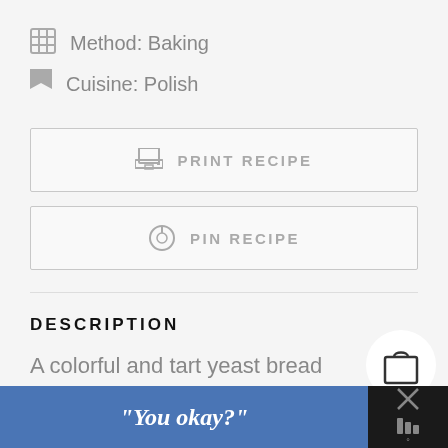Method: Baking
Cuisine: Polish
PRINT RECIPE
PIN RECIPE
DESCRIPTION
A colorful and tart yeast bread
“You okay?”